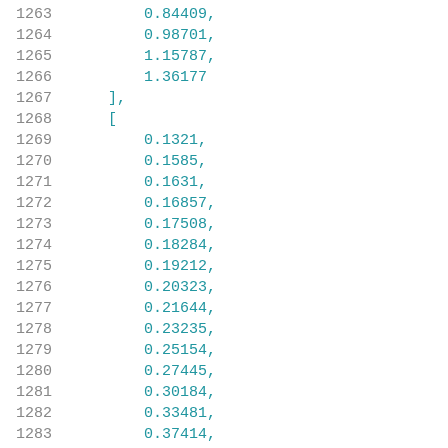Code listing lines 1263-1283 showing array data values: 0.84409, 0.98701, 1.15787, 1.36177 ], [ 0.1321, 0.1585, 0.1631, 0.16857, 0.17508, 0.18284, 0.19212, 0.20323, 0.21644, 0.23235, 0.25154, 0.27445, 0.30184, 0.33481, 0.37414,